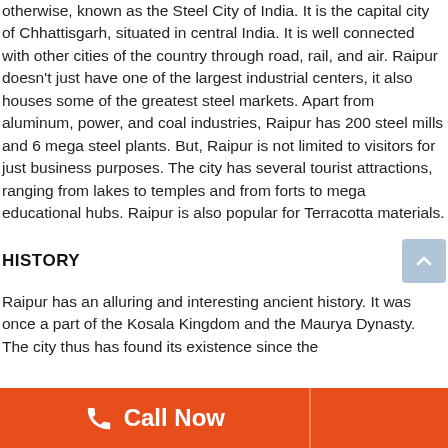otherwise, known as the Steel City of India. It is the capital city of Chhattisgarh, situated in central India. It is well connected with other cities of the country through road, rail, and air. Raipur doesn't just have one of the largest industrial centers, it also houses some of the greatest steel markets. Apart from aluminum, power, and coal industries, Raipur has 200 steel mills and 6 mega steel plants. But, Raipur is not limited to visitors for just business purposes. The city has several tourist attractions, ranging from lakes to temples and from forts to mega educational hubs. Raipur is also popular for Terracotta materials.
HISTORY
Raipur has an alluring and interesting ancient history. It was once a part of the Kosala Kingdom and the Maurya Dynasty. The city thus has found its existence since the